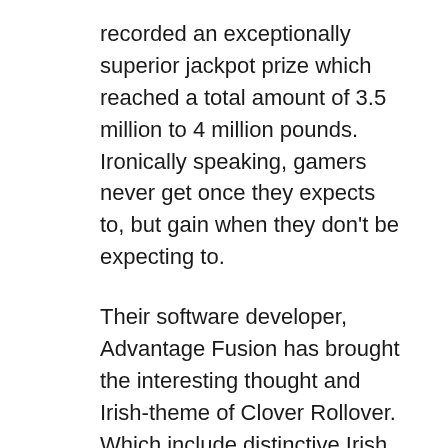recorded an exceptionally superior jackpot prize which reached a total amount of 3.5 million to 4 million pounds. Ironically speaking, gamers never get once they expects to, but gain when they don't be expecting to.
Their software developer, Advantage Fusion has brought the interesting thought and Irish-theme of Clover Rollover. Which include distinctive Irish luck depictions (Pot of Gold, Leprechaun's hat, Irish maiden, dark beer, gold cross, and higher benefit participating in cards). There may be this just one lucky symbol that each Clover Rollover gamers have to Look ahead to – the Fortunate Shamrock image. It is just a wild image that when 5 of it seems on an enabled pay out line, including the player has made the maximum